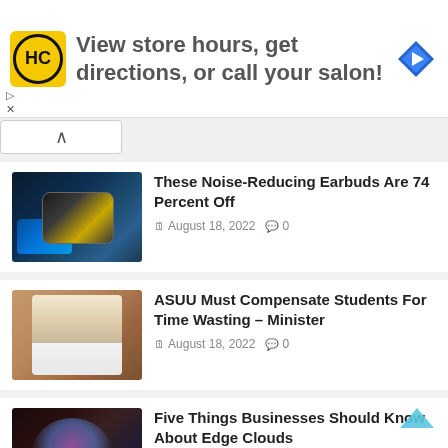[Figure (other): Advertisement banner: HC logo (yellow circle with HC letters), text 'View store hours, get directions, or call your salon!', blue navigation diamond icon]
These Noise-Reducing Earbuds Are 74 Percent Off
August 18, 2022   0
ASUU Must Compensate Students For Time Wasting – Minister
August 18, 2022   0
Five Things Businesses Should Know About Edge Clouds
August 18, 2022   0